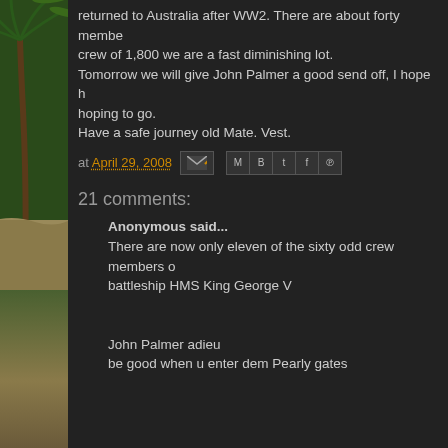returned to Australia after WW2. There are about forty membe... crew of 1,800 we are a fast diminishing lot.
Tomorrow we will give John Palmer a good send off, I hope h... hoping to go.
Have a safe journey old Mate. Vest.
at April 29, 2008
21 comments:
Anonymous said...
There are now only eleven of the sixty odd crew members o... battleship HMS King George V

John Palmer adieu
be good when u enter dem Pearly gates

its a long drop to hell from there
but we Hindus believe in re-incarnation
Wednesday, 30 April 2008 at 02:32:00 GMT+10